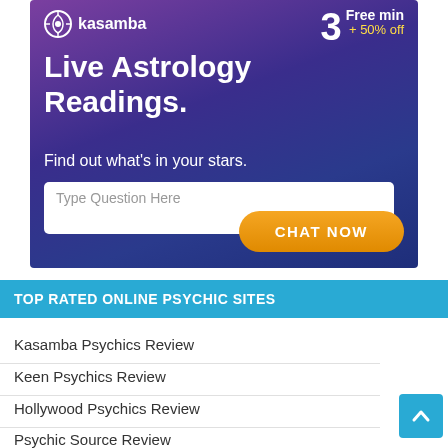[Figure (infographic): Kasamba psychic reading advertisement banner with purple/blue gradient background, logo top-left, '3 Free min + 50% off' offer top-right, headline 'Live Astrology Readings. Find out what's in your stars.', a text input box 'Type Question Here', and orange 'CHAT NOW' button.]
TOP RATED ONLINE PSYCHIC SITES
Kasamba Psychics Review
Keen Psychics Review
Hollywood Psychics Review
Psychic Source Review